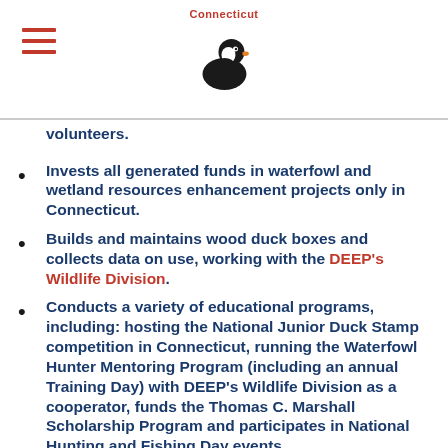Connecticut [logo with duck]
volunteers.
Invests all generated funds in waterfowl and wetland resources enhancement projects only in Connecticut.
Builds and maintains wood duck boxes and collects data on use, working with the DEEP's Wildlife Division.
Conducts a variety of educational programs, including: hosting the National Junior Duck Stamp competition in Connecticut, running the Waterfowl Hunter Mentoring Program (including an annual Training Day) with DEEP's Wildlife Division as a cooperator, funds the Thomas C. Marshall Scholarship Program and participates in National Hunting and Fishing Day events.
Actively advocates for the interests of waterfowl hunters a variety of ways: provides input on regulations for hunting and legislation that affects